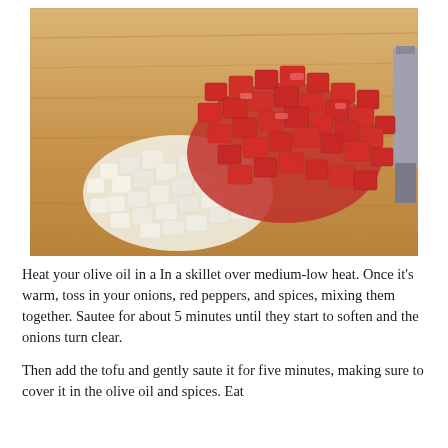[Figure (photo): A wooden cutting board with two piles of chopped vegetables: white diced onions on the left and diced red bell peppers on the right, with a knife visible at the right edge.]
Heat your olive oil in a In a skillet over medium-low heat. Once it's warm, toss in your onions, red peppers, and spices, mixing them together. Sautee for about 5 minutes until they start to soften and the onions turn clear.
Then add the tofu and gently saute it for five minutes, making sure to cover it in the olive oil and spices. Eat